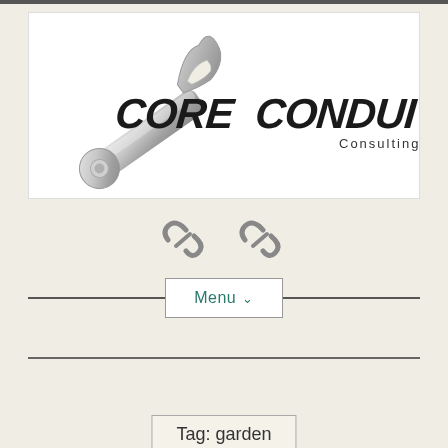[Figure (logo): Core Conduit Consulting Services logo with wrench image and stylized text]
[Figure (other): Two chain link social media icons]
Menu ∨
Tag: garden